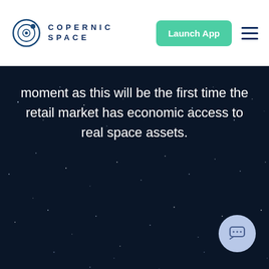[Figure (logo): Copernic Space logo with circular orbit icon and text COPERNIC SPACE in navy blue]
moment as this will be the first time the retail market has economic access to real space assets.
[Figure (illustration): Dark navy blue starfield background with scattered white/light dots representing stars]
[Figure (other): Chat/support button circle in light blue with speech bubble icon, bottom right corner]